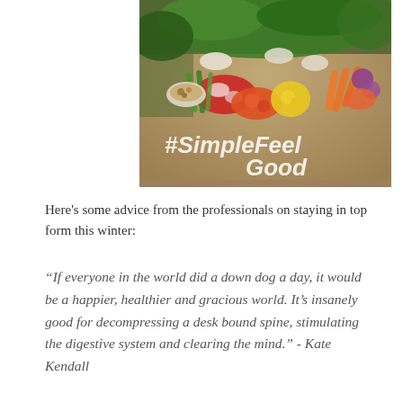[Figure (photo): A colorful spread of fresh vegetables, fruits, nuts and greens arranged decoratively on a table with '#SimpleFeel Good' written in white chalk-style text on the surface.]
Here's some advice from the professionals on staying in top form this winter:
“If everyone in the world did a down dog a day, it would be a happier, healthier and gracious world. It’s insanely good for decompressing a desk bound spine, stimulating the digestive system and clearing the mind.” - Kate Kendall